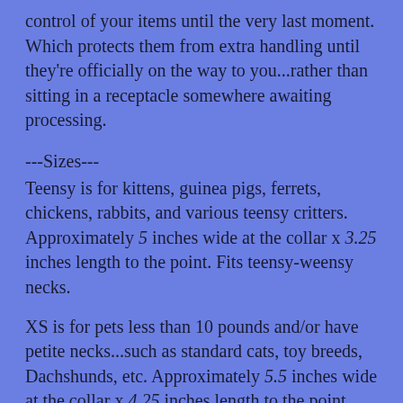control of your items until the very last moment. Which protects them from extra handling until they're officially on the way to you...rather than sitting in a receptacle somewhere awaiting processing.
---Sizes---
Teensy is for kittens, guinea pigs, ferrets, chickens, rabbits, and various teensy critters. Approximately 5 inches wide at the collar x 3.25 inches length to the point. Fits teensy-weensy necks.
XS is for pets less than 10 pounds and/or have petite necks...such as standard cats, toy breeds, Dachshunds, etc. Approximately 5.5 inches wide at the collar x 4.25 inches length to the point. Approximately fits a 6-10 inch neck.